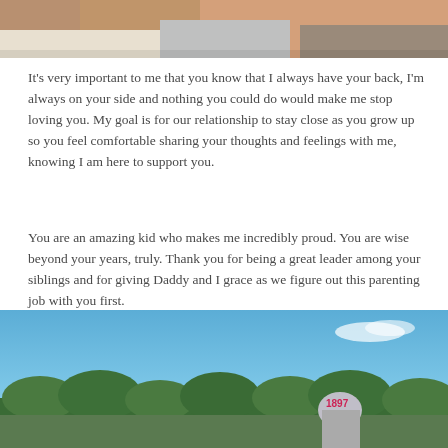[Figure (photo): Cropped top portion of a photo showing people, partially visible at top of page]
It's very important to me that you know that I always have your back, I'm always on your side and nothing you could do would make me stop loving you. My goal is for our relationship to stay close as you grow up so you feel comfortable sharing your thoughts and feelings with me, knowing I am here to support you.
You are an amazing kid who makes me incredibly proud. You are wise beyond your years, truly. Thank you for being a great leader among your siblings and for giving Daddy and I grace as we figure out this parenting job with you first.
[Figure (photo): Outdoor photo with blue sky, trees, and a child wearing a baseball cap with '1897' on it]